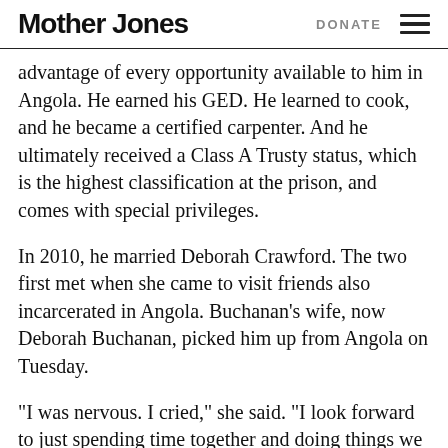Mother Jones   DONATE
advantage of every opportunity available to him in Angola. He earned his GED. He learned to cook, and he became a certified carpenter. And he ultimately received a Class A Trusty status, which is the highest classification at the prison, and comes with special privileges.
In 2010, he married Deborah Crawford. The two first met when she came to visit friends also incarcerated in Angola. Buchanan’s wife, now Deborah Buchanan, picked him up from Angola on Tuesday.
“I was nervous. I cried,” she said. “I look forward to just spending time together and doing things we